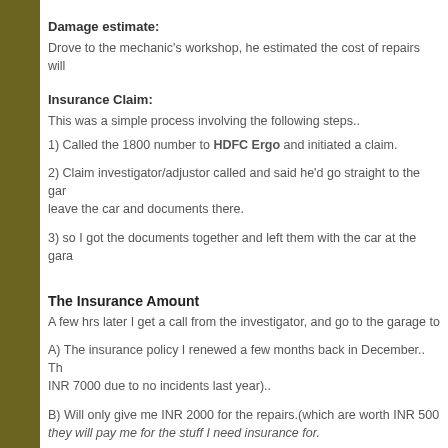Damage estimate:
Drove to the mechanic's workshop, he estimated the cost of repairs will
Insurance Claim:
This was a simple process involving the following steps..
1) Called the 1800 number to HDFC Ergo and initiated a claim.
2) Claim investigator/adjustor called and said he'd go straight to the gar leave the car and documents there.
3) so I got the documents together and left them with the car at the gara
The Insurance Amount
A few hrs later I get a call from the investigator, and go to the garage to
A) The insurance policy I renewed a few months back in December.. Th INR 7000 due to no incidents last year)..
B) Will only give me INR 2000 for the repairs.(which are worth INR 500 they will pay me for the stuff I need insurance for.
Why?
Apparently these insurance policies are only really useful in the first 3 y